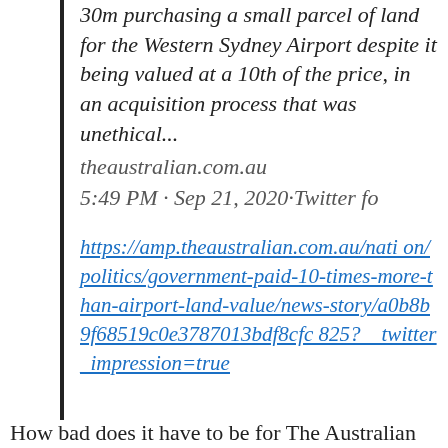30m purchasing a small parcel of land for the Western Sydney Airport despite it being valued at a 10th of the price, in an acquisition process that was unethical... theaustralian.com.au 5:49 PM · Sep 21, 2020·Twitter fo
https://amp.theaustralian.com.au/nation/politics/government-paid-10-times-more-than-airport-land-value/news-story/a0b8b9f68519c0e3787013bdf8cfc825?__twitter_impression=true
How bad does it have to be for The Australian